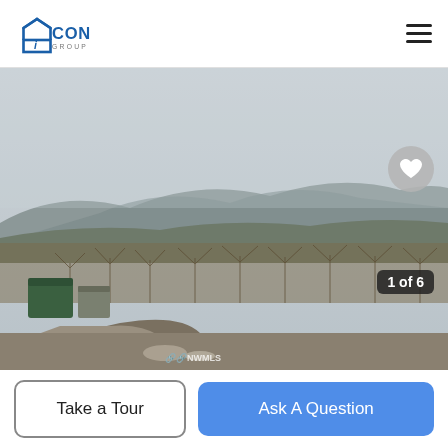iCON Group
[Figure (photo): Outdoor photo of a rural orchard property with bare trees, a dirt/gravel driveway, green storage tanks/buildings, and rolling hills in the background under an overcast sky. NWMLS watermark visible. Counter badge '1 of 6' in bottom right.]
Take a Tour
Ask A Question